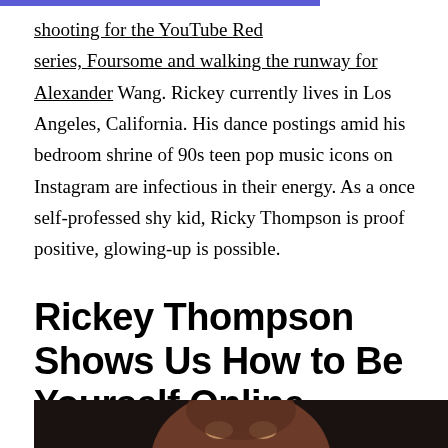shooting for the YouTube Red series, Foursome and walking the runway for Alexander Wang. Rickey currently lives in Los Angeles, California. His dance postings amid his bedroom shrine of 90s teen pop music icons on Instagram are infectious in their energy. As a once self-professed shy kid, Ricky Thompson is proof positive, glowing-up is possible.
Rickey Thompson Shows Us How to Be Yourself Online
[Figure (photo): Close-up photo of a young Black man with short natural hair, looking upward with wide expressive eyes, photographed against a dark background]